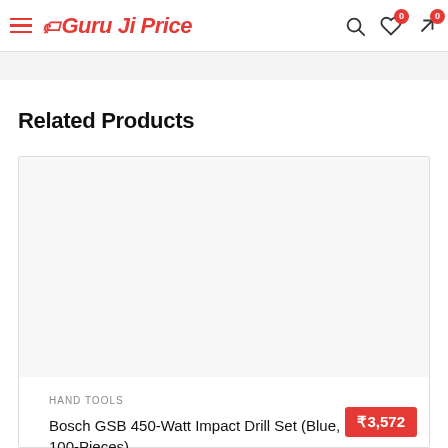Guru Ji Price
Related Products
HAND TOOLS
Bosch GSB 450-Watt Impact Drill Set (Blue, 100-Pieces)
₹3,572